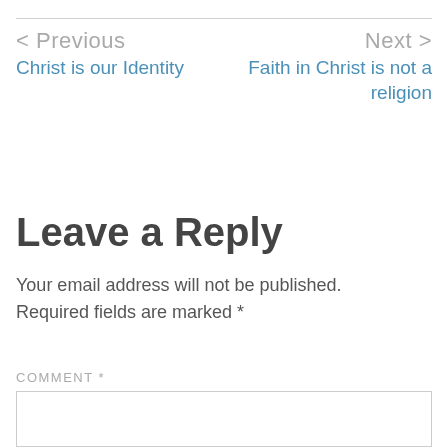< Previous
Christ is our Identity
Next >
Faith in Christ is not a religion
Leave a Reply
Your email address will not be published. Required fields are marked *
COMMENT *